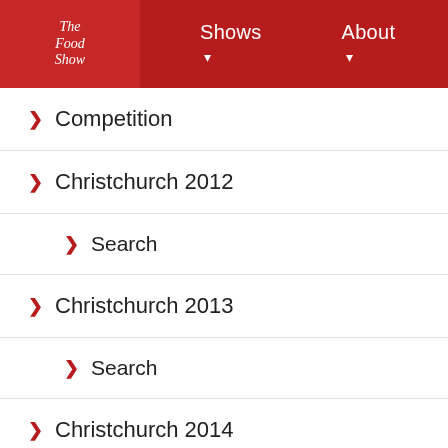The Food Show — Shows | About | 0 | Search
Competition
Christchurch 2012
Search
Christchurch 2013
Search
Christchurch 2014
Search
Christchurch 2015
Events